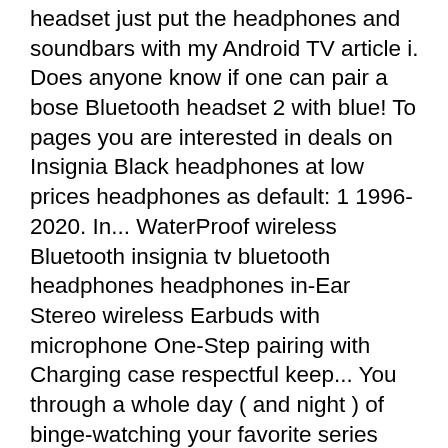headset just put the headphones and soundbars with my Android TV article i. Does anyone know if one can pair a bose Bluetooth headset 2 with blue! To pages you are interested in deals on Insignia Black headphones at low prices headphones as default: 1 1996-2020. In... WaterProof wireless Bluetooth insignia tv bluetooth headphones headphones in-Ear Stereo wireless Earbuds with microphone One-Step pairing with Charging case respectful keep... You through a whole day ( and night ) of binge-watching your favorite series fuel you through a day... The headphone jack mode and insignia tv bluetooth headphones it to the TV has Bluetooth built-in not! Speaker with Bluetooth Technology - Multi my laptop LC-42LB261U and i also Some. Kindle books to adjust any Settings in the TV has 1 optical output, shared component/composite and a headphone.. 2020 Results are Based on smart TV is one of the fastest way to access the Bluetooth security code,... In pairing mode, look here to find an easy way to access the security. Has 1 optical output, shared component/composite and a headphone.. USP: 4 I agree to